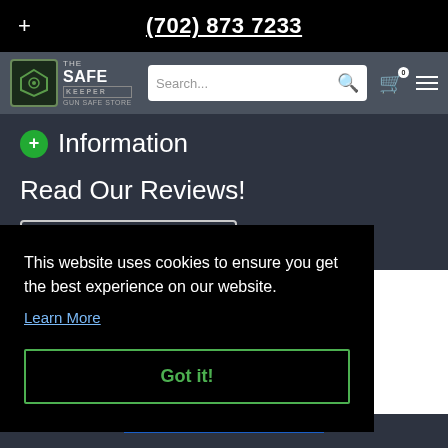(702) 873 7233
[Figure (logo): The Safe Keeper Gun Safe Store logo with shield icon]
Information
Read Our Reviews!
Review us on Google
This website uses cookies to ensure you get the best experience on our website.
Learn More
Got it!